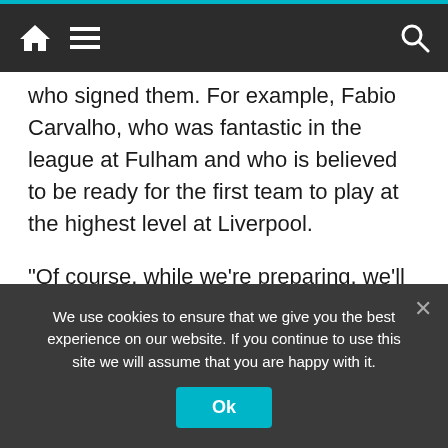Navigation bar with home, menu, and search icons
who signed them. For example, Fabio Carvalho, who was fantastic in the league at Fulham and who is believed to be ready for the first team to play at the highest level at Liverpool.
“Of course, while we’re preparing, we’ll have to wait and see how it develops and everything else. Nothing is in sight for Marco Asensio as Liverpool are very happy with Darwin, Carvalho and Ramsay.
“They are very happy with their transfer window. They are already thinking about new contract extensions.
We use cookies to ensure that we give you the best experience on our website. If you continue to use this site we will assume that you are happy with it.